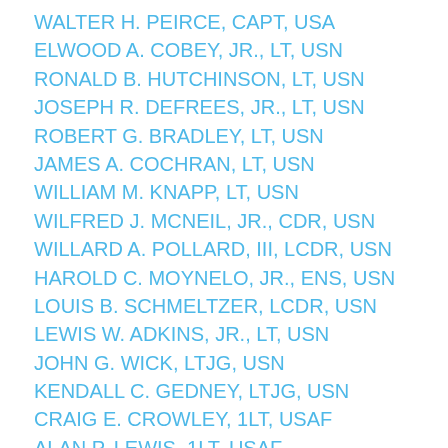WALTER H. PEIRCE, CAPT, USA
ELWOOD A. COBEY, JR., LT, USN
RONALD B. HUTCHINSON, LT, USN
JOSEPH R. DEFREES, JR., LT, USN
ROBERT G. BRADLEY, LT, USN
JAMES A. COCHRAN, LT, USN
WILLIAM M. KNAPP, LT, USN
WILFRED J. MCNEIL, JR., CDR, USN
WILLARD A. POLLARD, III, LCDR, USN
HAROLD C. MOYNELO, JR., ENS, USN
LOUIS B. SCHMELTZER, LCDR, USN
LEWIS W. ADKINS, JR., LT, USN
JOHN G. WICK, LTJG, USN
KENDALL C. GEDNEY, LTJG, USN
CRAIG E. CROWLEY, 1LT, USAF
ALAN P. LEWIS, 1LT, USAF
THEODORE C. WHITE, LT, USN
BADGER C. SMITH, III, LTJG, USN
STUART D. EVANS, LT, USN